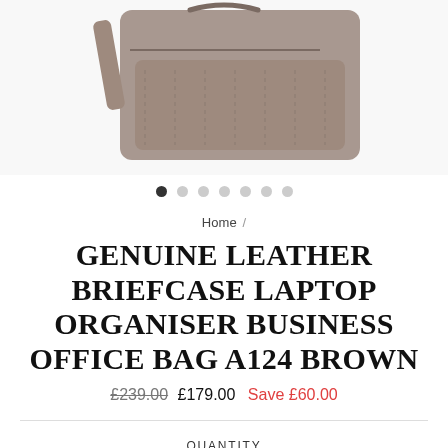[Figure (photo): Product photo of a taupe/brown genuine leather briefcase laptop bag, shown partially cropped at the top of the page]
Home /
GENUINE LEATHER BRIEFCASE LAPTOP ORGANISER BUSINESS OFFICE BAG A124 BROWN
£239.00  £179.00  Save £60.00
QUANTITY
- 1 +